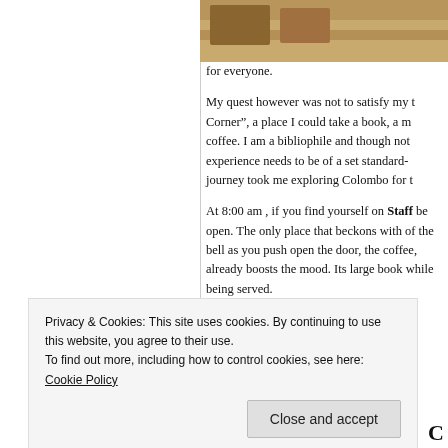[Figure (photo): Partial photo of books or wooden surface, cropped at top of right column]
for everyone.
My quest however was not to satisfy my t Corner", a place I could take a book, a m coffee. I am a bibliophile and though not experience needs to be of a set standard- journey took me exploring Colombo for t
At 8:00 am , if you find yourself on Staff be open. The only place that beckons with of the bell as you push open the door, the coffee, already boosts the mood. Its large book while being served.
Privacy & Cookies: This site uses cookies. By continuing to use this website, you agree to their use. To find out more, including how to control cookies, see here: Cookie Policy
Close and accept